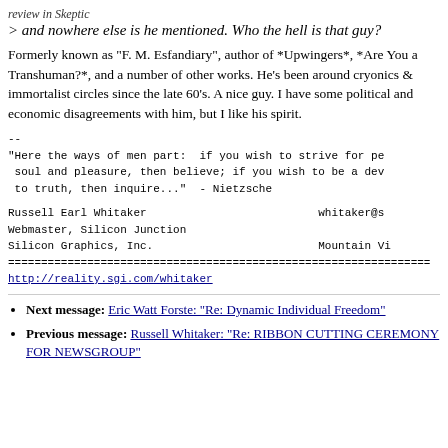review in Skeptic
> and nowhere else is he mentioned. Who the hell is that guy?
Formerly known as "F. M. Esfandiary", author of *Upwingers*, *Are You a Transhuman?*, and a number of other works. He's been around cryonics & immortalist circles since the late 60's. A nice guy. I have some political and economic disagreements with him, but I like his spirit.
--
"Here the ways of men part:  if you wish to strive for pe soul and pleasure, then believe; if you wish to be a dev to truth, then inquire..."  - Nietzsche
Russell Earl Whitaker                          whitaker@s
Webmaster, Silicon Junction
Silicon Graphics, Inc.                         Mountain Vi
================================================================
http://reality.sgi.com/whitaker
Next message: Eric Watt Forste: "Re: Dynamic Individual Freedom"
Previous message: Russell Whitaker: "Re: RIBBON CUTTING CEREMONY FOR NEWSGROUP"